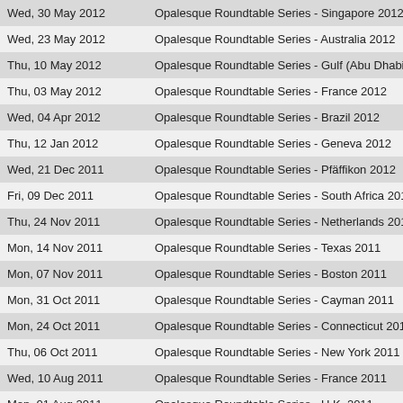| Date | Title |
| --- | --- |
| Wed, 30 May 2012 | Opalesque Roundtable Series - Singapore 2012 |
| Wed, 23 May 2012 | Opalesque Roundtable Series - Australia 2012 |
| Thu, 10 May 2012 | Opalesque Roundtable Series - Gulf (Abu Dhabi) 20... |
| Thu, 03 May 2012 | Opalesque Roundtable Series - France 2012 |
| Wed, 04 Apr 2012 | Opalesque Roundtable Series - Brazil 2012 |
| Thu, 12 Jan 2012 | Opalesque Roundtable Series - Geneva 2012 |
| Wed, 21 Dec 2011 | Opalesque Roundtable Series - Pfäffikon 2012 |
| Fri, 09 Dec 2011 | Opalesque Roundtable Series - South Africa 2012 |
| Thu, 24 Nov 2011 | Opalesque Roundtable Series - Netherlands 2011 |
| Mon, 14 Nov 2011 | Opalesque Roundtable Series - Texas 2011 |
| Mon, 07 Nov 2011 | Opalesque Roundtable Series - Boston 2011 |
| Mon, 31 Oct 2011 | Opalesque Roundtable Series - Cayman 2011 |
| Mon, 24 Oct 2011 | Opalesque Roundtable Series - Connecticut 2011 |
| Thu, 06 Oct 2011 | Opalesque Roundtable Series - New York 2011 |
| Wed, 10 Aug 2011 | Opalesque Roundtable Series - France 2011 |
| Mon, 01 Aug 2011 | Opalesque Roundtable Series - U.K. 2011 |
| Mon, 25 Jul 2011 | Opalesque Roundtable Series - Austria 2011 |
| Wed, 29 Jun 2011 | Opalesque Roundtable Series - Frankfurt 2011 |